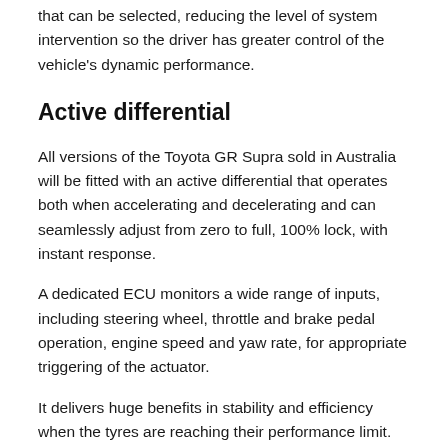that can be selected, reducing the level of system intervention so the driver has greater control of the vehicle's dynamic performance.
Active differential
All versions of the Toyota GR Supra sold in Australia will be fitted with an active differential that operates both when accelerating and decelerating and can seamlessly adjust from zero to full, 100% lock, with instant response.
A dedicated ECU monitors a wide range of inputs, including steering wheel, throttle and brake pedal operation, engine speed and yaw rate, for appropriate triggering of the actuator.
It delivers huge benefits in stability and efficiency when the tyres are reaching their performance limit. The effect is felt in all phases of cornering, with increased stability during the braking and cornering phases and then maximum grip